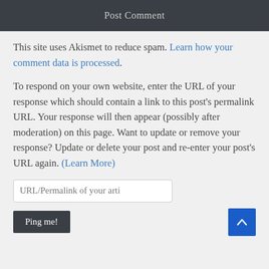Post Comment
This site uses Akismet to reduce spam. Learn how your comment data is processed.
To respond on your own website, enter the URL of your response which should contain a link to this post's permalink URL. Your response will then appear (possibly after moderation) on this page. Want to update or remove your response? Update or delete your post and re-enter your post's URL again. (Learn More)
URL/Permalink of your arti
Ping me!